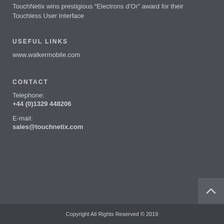TouchNetix wins prestigious “Electrons d’Or” award for their Touchless User Interface
USEFUL LINKS
www.walkermobile.com
CONTACT
Telephone:
+44 (0)1329 448206
E-mail:
sales@touchnetix.com
Copyright All Rights Reserved © 2019